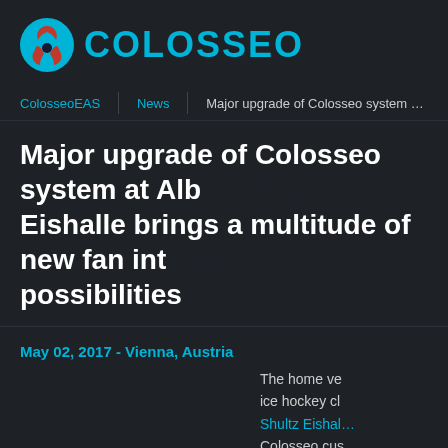[Figure (logo): Colosseo logo with cyan circular icon featuring three arcs and text COLOSSEO in cyan]
ColosseoEAS | News | Major upgrade of Colosseo system at Albert Schul...
Major upgrade of Colosseo system at Albert Schultz Eishalle brings a multitude of new fan interaction possibilities
May 02, 2017 - Vienna, Austria
The home ve... ice hockey cl... Shultz Eishal... Colosseo cus... and the lates... Platform syst...